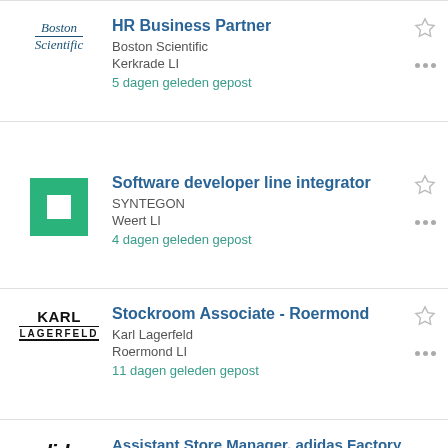[Figure (logo): Boston Scientific logo]
HR Business Partner
Boston Scientific
Kerkrade LI
5 dagen geleden gepost
[Figure (logo): Syntegon logo - green square with white inner square]
Software developer line integrator
SYNTEGON
Weert LI
4 dagen geleden gepost
[Figure (logo): Karl Lagerfeld logo]
Stockroom Associate - Roermond
Karl Lagerfeld
Roermond LI
11 dagen geleden gepost
[Figure (logo): Adidas logo]
Assistant Store Manager, adidas Factory